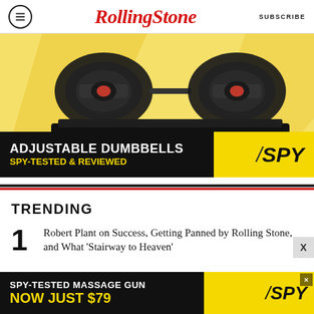RollingStone SUBSCRIBE
[Figure (photo): Advertisement for adjustable dumbbells on a yellow background with black label bar reading ADJUSTABLE DUMBBELLS SPY-TESTED & REVIEWED with SPY logo]
TRENDING
1 Robert Plant on Success, Getting Panned by Rolling Stone, and What 'Stairway to Heaven'
[Figure (other): Bottom advertisement banner: SPY-TESTED MASSAGE GUN NOW JUST $79 with SPY logo on black and yellow background]